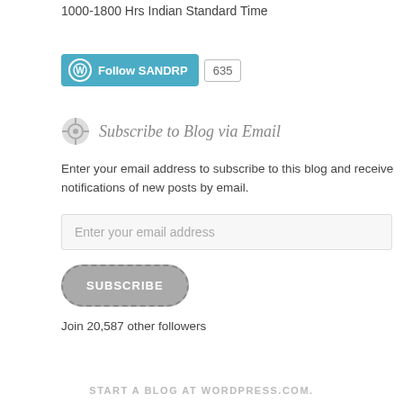1000-1800 Hrs Indian Standard Time
[Figure (other): Follow SANDRP WordPress follow button with follower count 635]
Subscribe to Blog via Email
Enter your email address to subscribe to this blog and receive notifications of new posts by email.
Enter your email address
SUBSCRIBE
Join 20,587 other followers
START A BLOG AT WORDPRESS.COM.